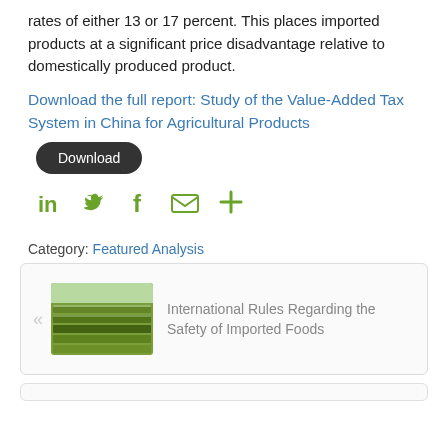rates of either 13 or 17 percent. This places imported products at a significant price disadvantage relative to domestically produced product.
Download the full report: Study of the Value-Added Tax System in China for Agricultural Products
Download
[Figure (infographic): Social sharing icons: LinkedIn, Twitter, Facebook, Email, More (+)]
Category: Featured Analysis
[Figure (photo): Thumbnail image of agricultural greenhouses/fields from aerial view]
International Rules Regarding the Safety of Imported Foods